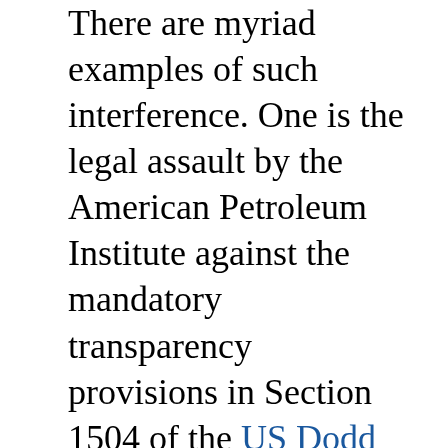There are myriad examples of such interference. One is the legal assault by the American Petroleum Institute against the mandatory transparency provisions in Section 1504 of the US Dodd Frank Act, which requires that oil and mining companies listed with the United States (US) regulatory body, the Securities Exchange Commission (SEC), declare the amount they pay to governments on a project-by-project basis. Another is the time two of my colleagues, advocating on behalf of the European Union (EU) Accounting Directive in Brussels—the EU equivalent of Section 1504 mentioned above, were